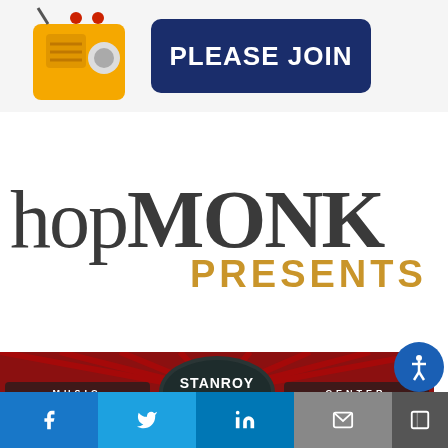[Figure (logo): Yellow radio/robot icon and dark blue 'PLEASE JOIN' button]
[Figure (logo): HopMonk Presents logo in large serif and sans-serif text, dark gray and gold/brown colors]
[Figure (logo): Stanroy Music Center banner with red background and retro jukebox styling]
[Figure (infographic): Social share bar with Facebook, Twitter, LinkedIn, email, and share buttons, plus accessibility icon]